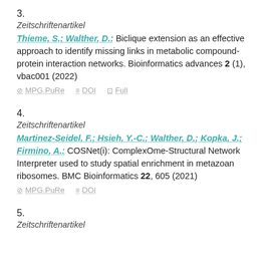3.
Zeitschriftenartikel
Thieme, S.; Walther, D.: Biclique extension as an effective approach to identify missing links in metabolic compound-protein interaction networks. Bioinformatics advances 2 (1), vbac001 (2022)
⊘ MPG.PuRe  ≡ DOI  ⊡ Full
4.
Zeitschriftenartikel
Martinez-Seidel, F.; Hsieh, Y.-C.; Walther, D.; Kopka, J.; Firmino, A.: COSNet(i): ComplexOme-Structural Network Interpreter used to study spatial enrichment in metazoan ribosomes. BMC Bioinformatics 22, 605 (2021)
⊘ MPG.PuRe  ≡ DOI
5.
Zeitschriftenartikel